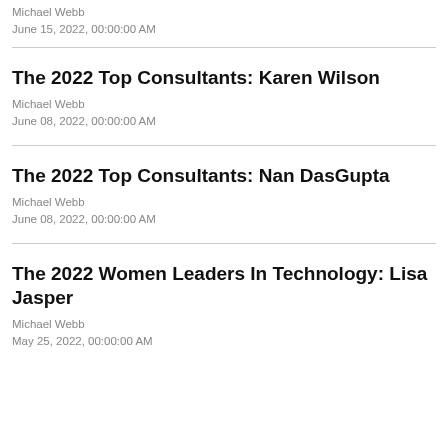Michael Webb
June 15, 2022, 00:00:00 AM
The 2022 Top Consultants: Karen Wilson
Michael Webb
June 08, 2022, 00:00:00 AM
The 2022 Top Consultants: Nan DasGupta
Michael Webb
June 08, 2022, 00:00:00 AM
The 2022 Women Leaders In Technology: Lisa Jasper
Michael Webb
May 25, 2022, 00:00:00 AM